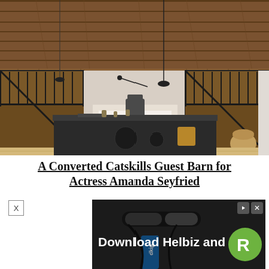[Figure (photo): Interior of a converted barn showing a dark kitchen island in foreground, wooden plank walls and ceiling, black metal barn-style sliding doors/partitions revealing a bedroom area with white bedding and chairs. Pendant lights hang from exposed wood beam ceiling.]
A Converted Catskills Guest Barn for Actress Amanda Seyfried
[Figure (photo): Advertisement banner showing a scooter handlebar with 'Download Helbiz and ride' text in white on dark background, with a green circle logo with letter R, and small ad control icons (play/close) in top right corner.]